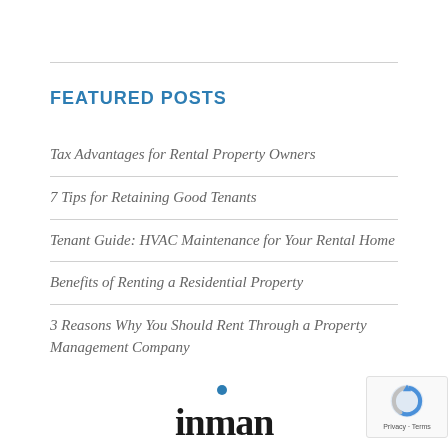FEATURED POSTS
Tax Advantages for Rental Property Owners
7 Tips for Retaining Good Tenants
Tenant Guide: HVAC Maintenance for Your Rental Home
Benefits of Renting a Residential Property
3 Reasons Why You Should Rent Through a Property Management Company
[Figure (logo): Inman logo with blue dot above lowercase 'inman' text]